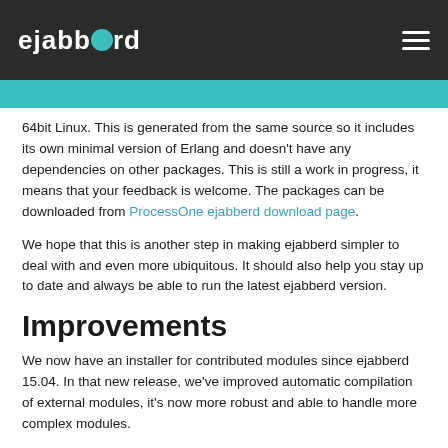ejabberd
64bit Linux. This is generated from the same source so it includes its own minimal version of Erlang and doesn't have any dependencies on other packages. This is still a work in progress, it means that your feedback is welcome. The packages can be downloaded from ProcessOne ejabberd download page.
We hope that this is another step in making ejabberd simpler to deal with and even more ubiquitous. It should also help you stay up to date and always be able to run the latest ejabberd version.
Improvements
We now have an installer for contributed modules since ejabberd 15.04. In that new release, we've improved automatic compilation of external modules, it's now more robust and able to handle more complex modules.
Documentation now includes supported protocols with versions by